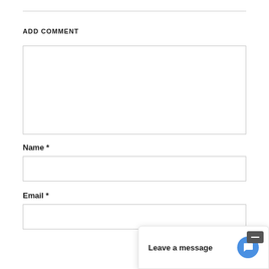ADD COMMENT
[Figure (screenshot): Empty textarea input box for comment text]
Name *
[Figure (screenshot): Empty text input field for Name]
Email *
[Figure (screenshot): Empty text input field for Email]
[Figure (screenshot): Chat widget overlay with text 'Leave a message' and chat bubble icon]